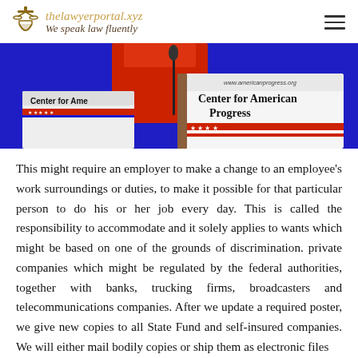thelawyerportal.xyz – We speak law fluently
[Figure (photo): A speaker at a podium with 'Center for American Progress' signage and www.americanprogress.org URL, blue background, person in red jacket]
This might require an employer to make a change to an employee's work surroundings or duties, to make it possible for that particular person to do his or her job every day. This is called the responsibility to accommodate and it solely applies to wants which might be based on one of the grounds of discrimination. private companies which might be regulated by the federal authorities, together with banks, trucking firms, broadcasters and telecommunications companies. After we update a required poster, we give new copies to all State Fund and self-insured companies. We will either mail bodily copies or ship them as electronic files